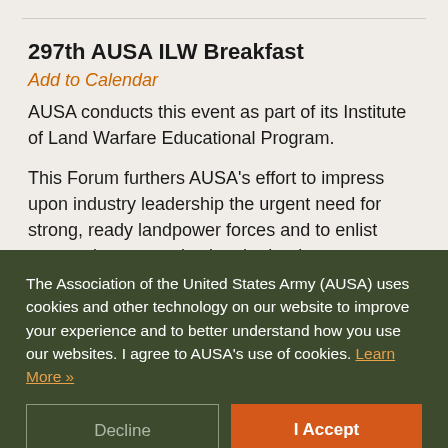297th AUSA ILW Breakfast
Add to Calendar
AUSA conducts this event as part of its Institute of Land Warfare Educational Program.
This Forum furthers AUSA's effort to impress upon industry leadership the urgent need for strong, ready landpower forces and to enlist support in communicating the landpower story to Congress, the media and other
The Association of the United States Army (AUSA) uses cookies and other technology on our website to improve your experience and to better understand how you use our websites. I agree to AUSA's use of cookies. Learn More »
Decline
I Accept